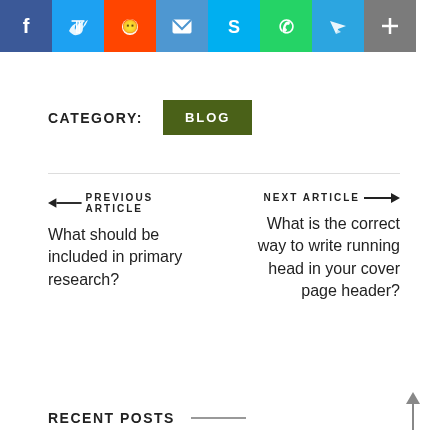[Figure (infographic): Social media share icons row: Facebook (blue), Twitter (light blue), Reddit (orange), Email (blue), Skype (blue), WhatsApp (green), Telegram (blue), Share/Plus (grey)]
CATEGORY:   BLOG
← PREVIOUS ARTICLE
What should be included in primary research?
NEXT ARTICLE →
What is the correct way to write running head in your cover page header?
RECENT POSTS ——